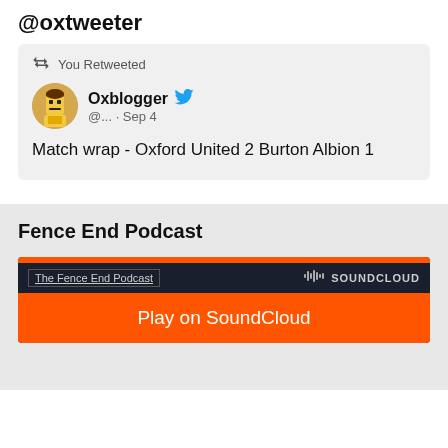@oxtweeter
You Retweeted
Oxblogger @... · Sep 4
Match wrap - Oxford United 2 Burton Albion 1
Fence End Podcast
[Figure (screenshot): SoundCloud player embed showing 'The Fence End Podcast' with a Play on SoundCloud orange button]